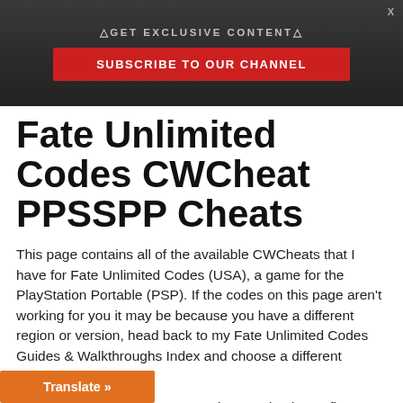△GET EXCLUSIVE CONTENT△
SUBSCRIBE TO OUR CHANNEL
Fate Unlimited Codes CWCheat PPSSPP Cheats
This page contains all of the available CWCheats that I have for Fate Unlimited Codes (USA), a game for the PlayStation Portable (PSP). If the codes on this page aren't working for you it may be because you have a different region or version, head back to my Fate Unlimited Codes Guides & Walkthroughs Index and choose a different section.
If you're using the PPSSPP Emulator and trying to figure out how to get these codes to work you're in luck! Check out my How to Use PSP Codes on the PPSSPP Emulator Guide for more information ow to get these codes working in